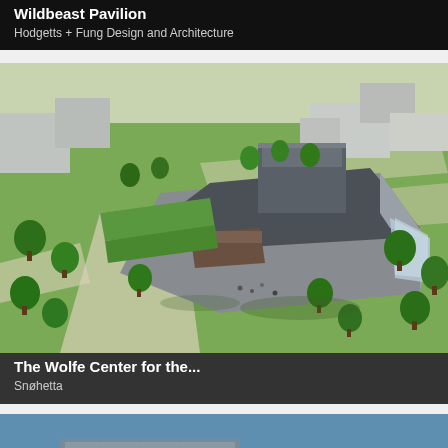Wildbeast Pavilion
Hodgetts + Fung Design and Architecture
[Figure (photo): Aerial architectural rendering of The Wolfe Center for the Arts on a green campus with trees, pathways, and surrounding buildings. A modern angular building with metallic cladding is centered.]
The Wolfe Center for the...
Snøhetta
[Figure (photo): Partial view of a modern building exterior with blue sky, showing metallic or glass facade elements.]